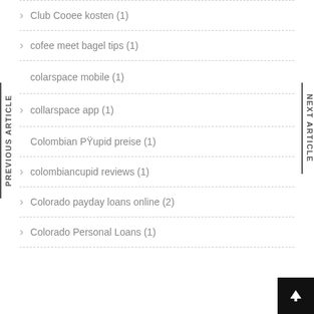Club Cooee kosten (1)
cofee meet bagel tips (1)
colarspace mobile (1)
collarspace app (1)
Colombian PŸupid preise (1)
colombiancupid reviews (1)
Colorado payday loans online (2)
Colorado Personal Loans (1)